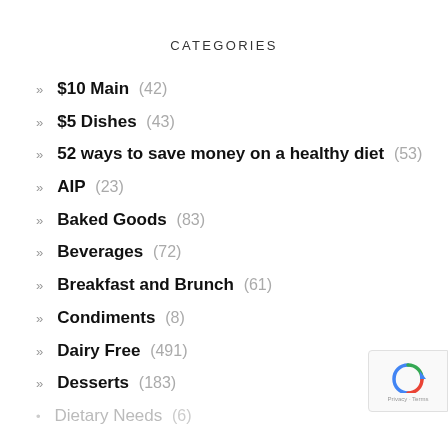CATEGORIES
$10 Main (42)
$5 Dishes (43)
52 ways to save money on a healthy diet (53)
AIP (23)
Baked Goods (83)
Beverages (72)
Breakfast and Brunch (61)
Condiments (8)
Dairy Free (491)
Desserts (183)
Dietary Needs (6)